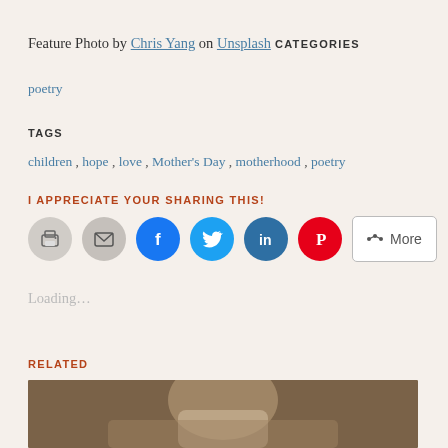Feature Photo by Chris Yang on Unsplash
CATEGORIES
poetry
TAGS
children, hope, love, Mother's Day, motherhood, poetry
I APPRECIATE YOUR SHARING THIS!
[Figure (other): Social sharing buttons: print, email, Facebook, Twitter, LinkedIn, Pinterest, More]
Loading...
RELATED
[Figure (photo): Partial photo of a person, related article thumbnail]